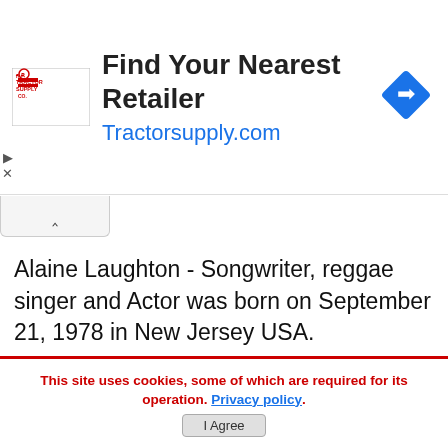[Figure (other): Tractor Supply Co advertisement banner with logo, text 'Find Your Nearest Retailer' and URL 'Tractorsupply.com' plus a blue diamond navigation icon]
Alaine Laughton - Songwriter, reggae singer and Actor was born on September 21, 1978 in New Jersey USA.
[Figure (other): Advertisement: 'Fuel Business Growth With AI' - Grow your business with marketing intelligence: connect, manage & analyse. Contact now!]
This site uses cookies, some of which are required for its operation. Privacy policy.
I Agree